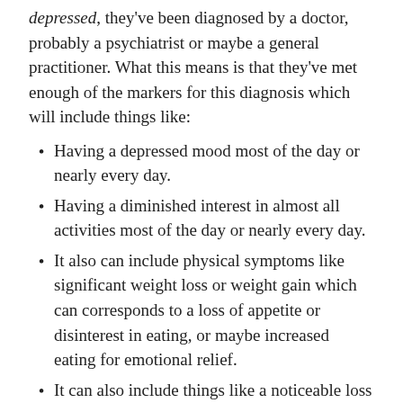depressed, they've been diagnosed by a doctor, probably a psychiatrist or maybe a general practitioner. What this means is that they've met enough of the markers for this diagnosis which will include things like:
Having a depressed mood most of the day or nearly every day.
Having a diminished interest in almost all activities most of the day or nearly every day.
It also can include physical symptoms like significant weight loss or weight gain which can corresponds to a loss of appetite or disinterest in eating, or maybe increased eating for emotional relief.
It can also include things like a noticeable loss of energy or sense of feeling easily fatigued.
Other markers are a diminished ability to think